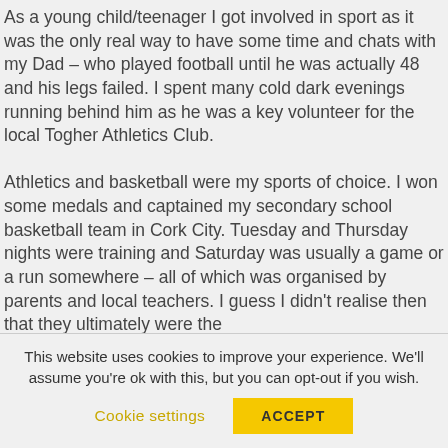As a young child/teenager I got involved in sport as it was the only real way to have some time and chats with my Dad – who played football until he was actually 48 and his legs failed. I spent many cold dark evenings running behind him as he was a key volunteer for the local Togher Athletics Club.

Athletics and basketball were my sports of choice. I won some medals and captained my secondary school basketball team in Cork City. Tuesday and Thursday nights were training and Saturday was usually a game or a run somewhere – all of which was organised by parents and local teachers. I guess I didn't realise then that they ultimately were the
This website uses cookies to improve your experience. We'll assume you're ok with this, but you can opt-out if you wish.